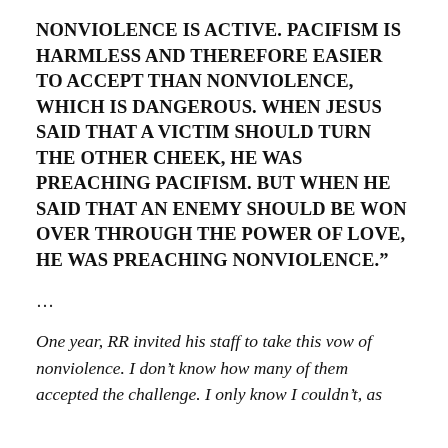NONVIOLENCE IS ACTIVE. PACIFISM IS HARMLESS AND THEREFORE EASIER TO ACCEPT THAN NONVIOLENCE, WHICH IS DANGEROUS. WHEN JESUS SAID THAT A VICTIM SHOULD TURN THE OTHER CHEEK, HE WAS PREACHING PACIFISM. BUT WHEN HE SAID THAT AN ENEMY SHOULD BE WON OVER THROUGH THE POWER OF LOVE, HE WAS PREACHING NONVIOLENCE."
...
One year, RR invited his staff to take this vow of nonviolence. I don’t know how many of them accepted the challenge. I only know I couldn’t, as